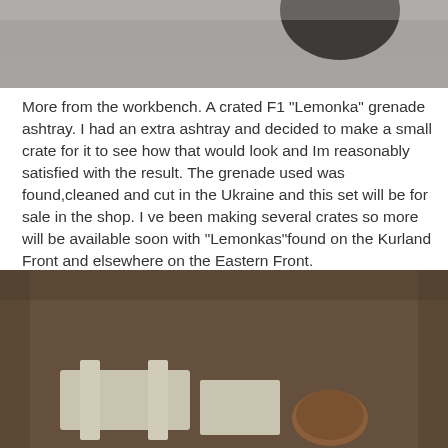[Figure (photo): Top portion of a photo showing a dark object (likely a grenade ashtray) on a grey surface, partially cropped at top of page]
More from the workbench. A crated F1 "Lemonka" grenade ashtray. I had an extra ashtray and decided to make a small crate for it to see how that would look and Im reasonably satisfied with the result. The grenade used was found,cleaned and cut in the Ukraine and this set will be for sale in the shop. I ve been making several crates so more will be available soon with "Lemonkas"found on the Kurland Front and elsewhere on the Eastern Front.
[Figure (photo): Photo of a wooden crate with a F1 Lemonka grenade ashtray placed inside it, on a dark brown surface]